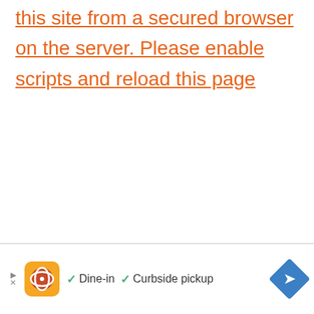this site from a secured browser on the server. Please enable scripts and reload this page
[Figure (other): Advertisement bar: orange logo with stylized design, checkmarks for Dine-in and Curbside pickup, blue diamond navigation icon]